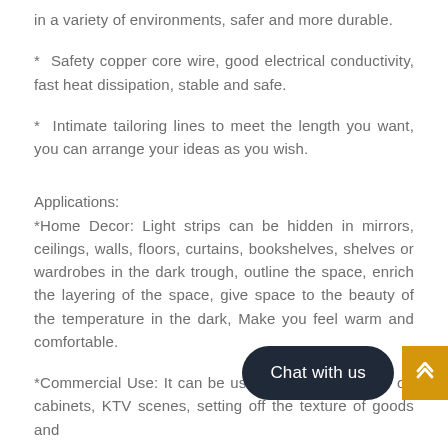in a variety of environments, safer and more durable.
* Safety copper core wire, good electrical conductivity, fast heat dissipation, stable and safe.
* Intimate tailoring lines to meet the length you want, you can arrange your ideas as you wish.
Applications:
*Home Decor: Light strips can be hidden in mirrors, ceilings, walls, floors, curtains, bookshelves, shelves or wardrobes in the dark trough, outline the space, enrich the layering of the space, give space to the beauty of the temperature in the dark, Make you feel warm and comfortable.
*Commercial Use: It can be used in b... op cabinets, KTV scenes, setting off the texture of goods and